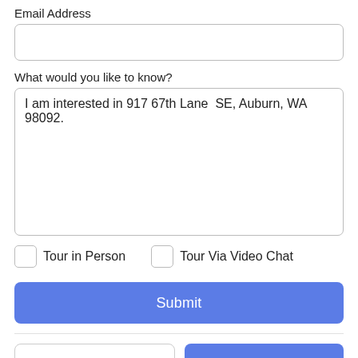Email Address
What would you like to know?
I am interested in 917 67th Lane  SE, Auburn, WA 98092.
Tour in Person
Tour Via Video Chat
Submit
Take a Tour
Ask A Question